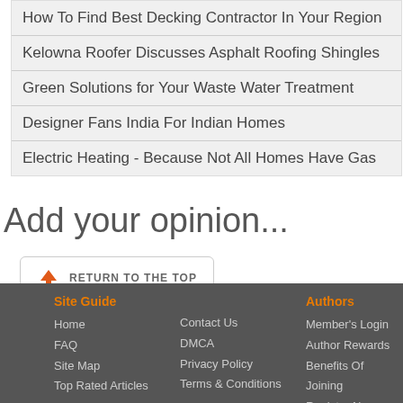How To Find Best Decking Contractor In Your Region
Kelowna Roofer Discusses Asphalt Roofing Shingles
Green Solutions for Your Waste Water Treatment
Designer Fans India For Indian Homes
Electric Heating - Because Not All Homes Have Gas
Add your opinion...
RETURN TO THE TOP
Site Guide | Home | FAQ | Site Map | Top Rated Articles | Contact Us | DMCA | Privacy Policy | Terms & Conditions | Authors | Member's Login | Author Rewards | Benefits Of Joining | Register Now | Editorial Guidelines